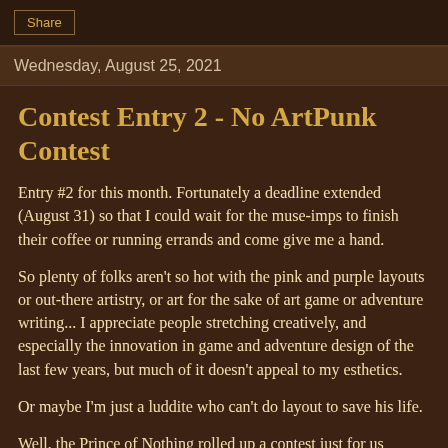Share
Wednesday, August 25, 2021
Contest Entry 2 - No ArtPunk Contest
Entry #2 for this month. Fortunately a deadline extended (August 31) so that I could wait for the muse-imps to finish their coffee or running errands and come give me a hand.
So plenty of folks aren't so hot with the pink and purple layouts or out-there artistry, or art for the sake of art game or adventure writing... I appreciate people stretching creatively, and especially the innovation in game and adventure design of the last few years, but much of it doesn't appeal to my esthetics.
Or maybe I'm just a luddite who can't do layout to save his life.
Well, the Prince of Nothing rolled up a contest just for us